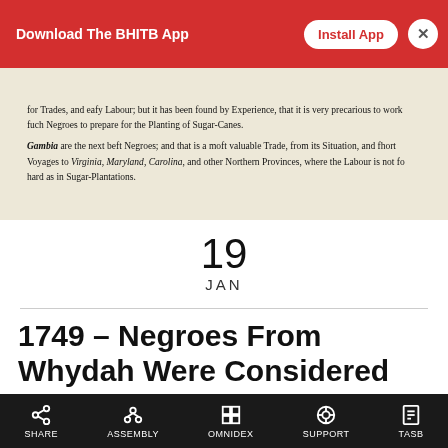Download The BHITB App  [Install App]  [X]
[Figure (photo): Scanned historical document with old English text about Negroes from Gambia being suitable for Virginia, Maryland, Carolina and other Northern Provinces where Labour is not so hard as in Sugar-Plantations.]
19
JAN
1749 – Negroes From Whydah Were Considered The Best Slaves For Working The Sugar Plantations
SHARE  ASSEMBLY  OMNIDEX  SUPPORT  TASB